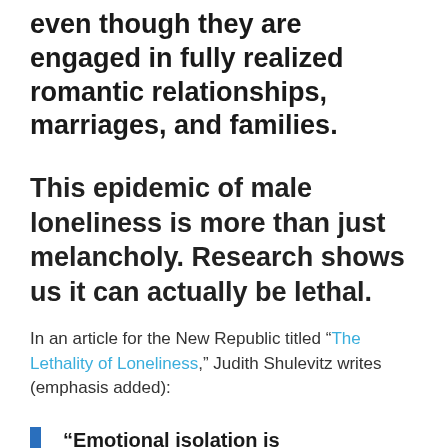even though they are engaged in fully realized romantic relationships, marriages, and families.
This epidemic of male loneliness is more than just melancholy. Research shows us it can actually be lethal.
In an article for the New Republic titled “The Lethality of Loneliness,” Judith Shulevitz writes (emphasis added):
“Emotional isolation is ranked as high a risk…